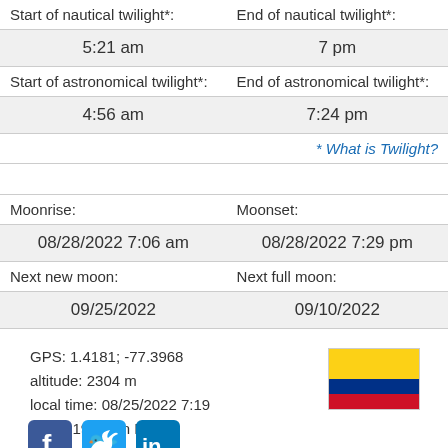| Start of nautical twilight*: | End of nautical twilight*: |
| 5:21 am | 7 pm |
| Start of astronomical twilight*: | End of astronomical twilight*: |
| 4:56 am | 7:24 pm |
|  | * What is Twilight? |
| Moonrise: | Moonset: |
| 08/28/2022 7:06 am | 08/28/2022 7:29 pm |
| Next new moon: | Next full moon: |
| 09/25/2022 | 09/10/2022 |
GPS: 1.4181; -77.3968
altitude: 2304 m
local time: 08/25/2022 7:19 am (8:19 am in NY)
[Figure (illustration): Colombia national flag (horizontal stripes: yellow top half, blue quarter, red quarter)]
[Figure (illustration): Social media icons: Facebook, Twitter, LinkedIn]